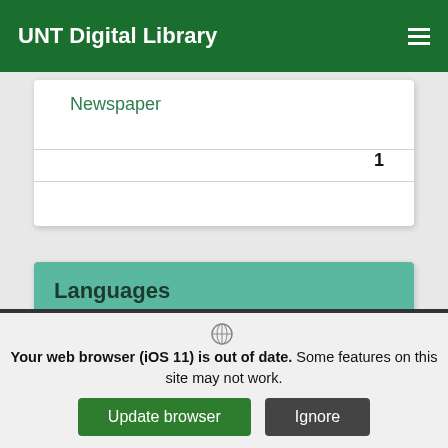UNT Digital Library
Newspaper
1
Languages
Manipuri
49
Your web browser (iOS 11) is out of date. Some features on this site may not work.